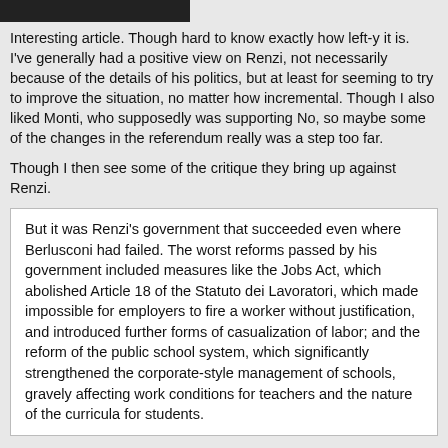Interesting article. Though hard to know exactly how left-y it is.
I've generally had a positive view on Renzi, not necessarily because of the details of his politics, but at least for seeming to try to improve the situation, no matter how incremental. Though I also liked Monti, who supposedly was supporting No, so maybe some of the changes in the referendum really was a step too far.
Though I then see some of the critique they bring up against Renzi.
But it was Renzi's government that succeeded even where Berlusconi had failed. The worst reforms passed by his government included measures like the Jobs Act, which abolished Article 18 of the Statuto dei Lavoratori, which made impossible for employers to fire a worker without justification, and introduced further forms of casualization of labor; and the reform of the public school system, which significantly strengthened the corporate-style management of schools, gravely affecting work conditions for teachers and the nature of the curricula for students.
Losing article 18 sounds bad the way they frame it, but hard to know without context. In the end it is not that hard for companies to make up a reason for firing people, if they don't have a legitimate one.
But it sounds like a real problem in some, especially southern European countries, that the way they have implemented worker protection is to make it really difficult and expensive to fire people. Which in turn also can make them more reluctant to hire people.